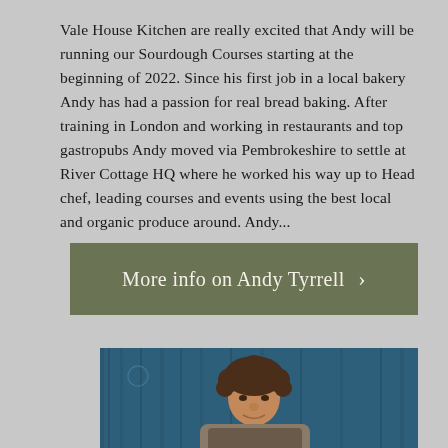Vale House Kitchen are really excited that Andy will be running our Sourdough Courses starting at the beginning of 2022. Since his first job in a local bakery Andy has had a passion for real bread baking. After training in London and working in restaurants and top gastropubs Andy moved via Pembrokeshire to settle at River Cottage HQ where he worked his way up to Head chef, leading courses and events using the best local and organic produce around. Andy...
More info on Andy Tyrrell ›
[Figure (photo): Portrait photo of Andy Tyrrell, a man with curly brown hair, photographed against a blue-painted wooden door/wall background]